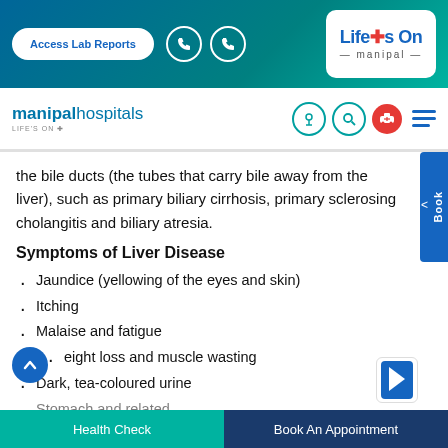[Figure (screenshot): Manipal Hospitals top navigation banner with Access Lab Reports button, phone icons, and Life's On Manipal logo on teal/blue gradient background]
[Figure (screenshot): Manipal Hospitals website navigation bar with logo, microphone, search, ambulance, and hamburger menu icons]
the bile ducts (the tubes that carry bile away from the liver), such as primary biliary cirrhosis, primary sclerosing cholangitis and biliary atresia.
Symptoms of Liver Disease
Jaundice (yellowing of the eyes and skin)
Itching
Malaise and fatigue
Weight loss and muscle wasting
Dark, tea-coloured urine
Health Check | Book An Appointment